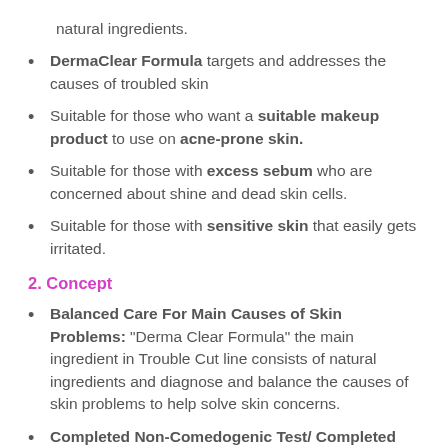natural ingredients.
DermaClear Formula targets and addresses the causes of troubled skin
Suitable for those who want a suitable makeup product to use on acne-prone skin.
Suitable for those with excess sebum who are concerned about shine and dead skin cells.
Suitable for those with sensitive skin that easily gets irritated.
2. Concept
Balanced Care For Main Causes of Skin Problems: "Derma Clear Formula" the main ingredient in Trouble Cut line consists of natural ingredients and diagnose and balance the causes of skin problems to help solve skin concerns.
Completed Non-Comedogenic Test/ Completed Non-Irritating Test: Completed non-comedogenic test and